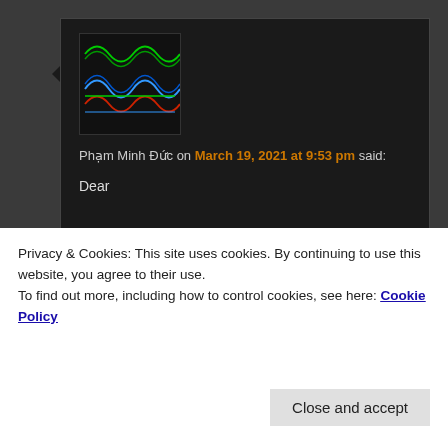[Figure (illustration): Avatar image showing oscilloscope waveforms - green, blue/red sinusoidal waves on black background]
Phạm Minh Đức on March 19, 2021 at 9:53 pm said:
Dear

I am from Koren University and I am trying to understand your circuit .
I am testing the DAC8814 á picture below :

Picture ->
https://photos.app.goo.gl/ZHwWTVZkt11XFcba8
Privacy & Cookies: This site uses cookies. By continuing to use this website, you agree to their use.
To find out more, including how to control cookies, see here: Cookie Policy
Close and accept
Thank you so much